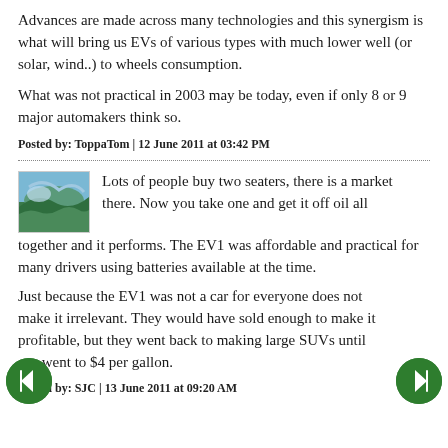Advances are made across many technologies and this synergism is what will bring us EVs of various types with much lower well (or solar, wind..) to wheels consumption.
What was not practical in 2003 may be today, even if only 8 or 9 major automakers think so.
Posted by: ToppaTom | 12 June 2011 at 03:42 PM
[Figure (photo): Thumbnail avatar image showing a nature scene with water and greenery]
Lots of people buy two seaters, there is a market there. Now you take one and get it off oil all together and it performs. The EV1 was affordable and practical for many drivers using batteries available at the time.
Just because the EV1 was not a car for everyone does not make it irrelevant. They would have sold enough to make it profitable, but they went back to making large SUVs until gas went to $4 per gallon.
Posted by: SJC | 13 June 2011 at 09:20 AM